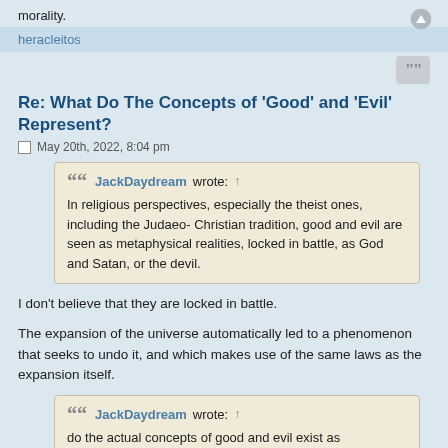morality.
heracleitos
Re: What Do The Concepts of 'Good' and 'Evil' Represent?
May 20th, 2022, 8:04 pm
JackDaydream wrote: ↑
In religious perspectives, especially the theist ones, including the Judaeo- Christian tradition, good and evil are seen as metaphysical realities, locked in battle, as God and Satan, or the devil.
I don't believe that they are locked in battle.
The expansion of the universe automatically led to a phenomenon that seeks to undo it, and which makes use of the same laws as the expansion itself.
JackDaydream wrote: ↑
do the actual concepts of good and evil exist as independent realities?
Yes.